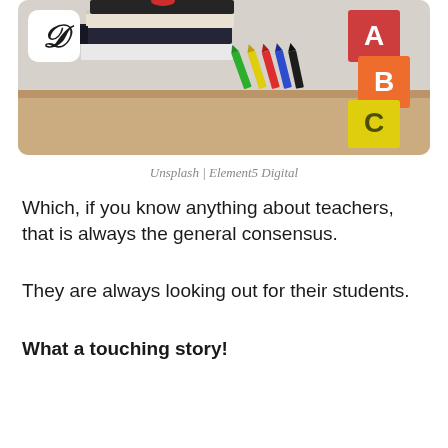[Figure (photo): Photo of stacked books, colored pencils, and alphabet blocks (A, B, C) on a wooden desk, with a Distractify logo watermark in a white rounded square in the top-left corner]
Unsplash | Element5 Digital
Which, if you know anything about teachers, that is always the general consensus.
They are always looking out for their students.
What a touching story!